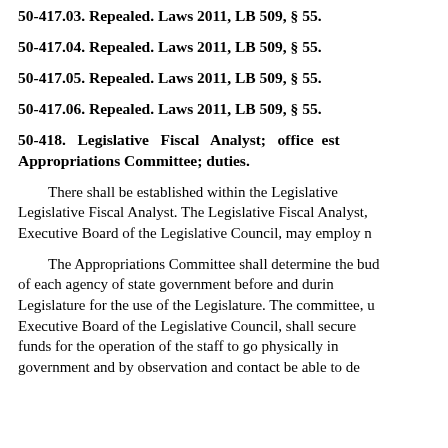50-417.03. Repealed. Laws 2011, LB 509, § 55.
50-417.04. Repealed. Laws 2011, LB 509, § 55.
50-417.05. Repealed. Laws 2011, LB 509, § 55.
50-417.06. Repealed. Laws 2011, LB 509, § 55.
50-418. Legislative Fiscal Analyst; office est... Appropriations Committee; duties.
There shall be established within the Legislative Legislative Fiscal Analyst. The Legislative Fiscal Analyst, Executive Board of the Legislative Council, may employ n
The Appropriations Committee shall determine the bud of each agency of state government before and durin Legislature for the use of the Legislature. The committee, u Executive Board of the Legislative Council, shall secure funds for the operation of the staff to go physically in government and by observation and contact be able to de